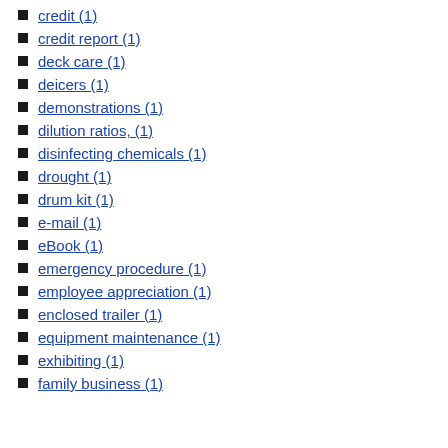credit (1)
credit report (1)
deck care (1)
deicers (1)
demonstrations (1)
dilution ratios, (1)
disinfecting chemicals (1)
drought (1)
drum kit (1)
e-mail (1)
eBook (1)
emergency procedure (1)
employee appreciation (1)
enclosed trailer (1)
equipment maintenance (1)
exhibiting (1)
family business (1)